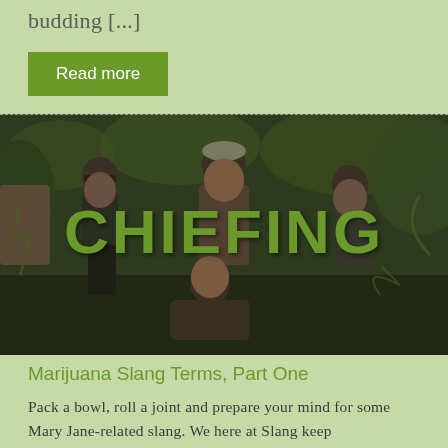budding [...]
Read more
[Figure (photo): Black and white vintage photograph of four men in Victorian-era clothing sitting outdoors among ferns and foliage, with the word CHIEFING overlaid in large bold green text]
Marijuana Slang Terms, Part One
Pack a bowl, roll a joint and prepare your mind for some Mary Jane-related slang. We here at Slang keep